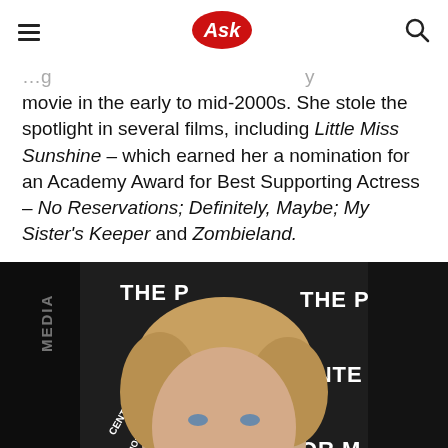Ask
movie in the early to mid-2000s. She stole the spotlight in several films, including Little Miss Sunshine – which earned her a nomination for an Academy Award for Best Supporting Actress – No Reservations; Definitely, Maybe; My Sister's Keeper and Zombieland.
[Figure (photo): A blonde woman smiling at a Paley Center for Media event, photographed against a branded backdrop showing 'THE PALEY CENTER FOR MEDIA' text repeated.]